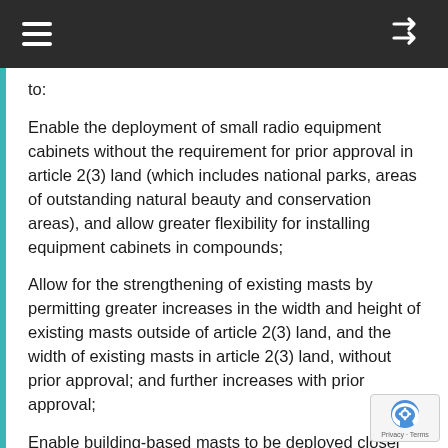≡  [shuffle icon]
to:
Enable the deployment of small radio equipment cabinets without the requirement for prior approval in article 2(3) land (which includes national parks, areas of outstanding natural beauty and conservation areas), and allow greater flexibility for installing equipment cabinets in compounds;
Allow for the strengthening of existing masts by permitting greater increases in the width and height of existing masts outside of article 2(3) land, and the width of existing masts in article 2(3) land, without prior approval; and further increases with prior approval;
Enable building-based masts to be deployed closer